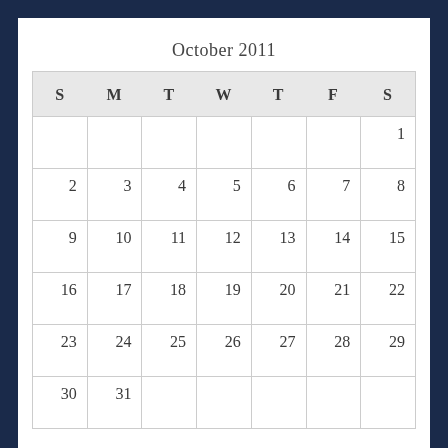October 2011
| S | M | T | W | T | F | S |
| --- | --- | --- | --- | --- | --- | --- |
|  |  |  |  |  |  | 1 |
| 2 | 3 | 4 | 5 | 6 | 7 | 8 |
| 9 | 10 | 11 | 12 | 13 | 14 | 15 |
| 16 | 17 | 18 | 19 | 20 | 21 | 22 |
| 23 | 24 | 25 | 26 | 27 | 28 | 29 |
| 30 | 31 |  |  |  |  |  |